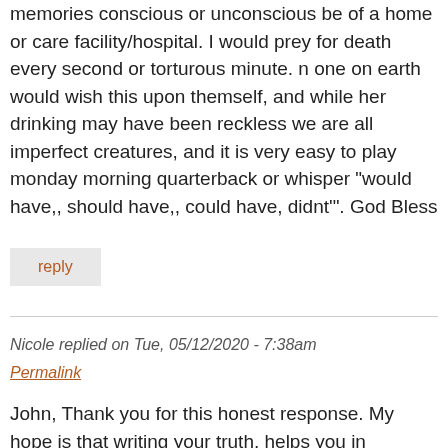memories conscious or unconscious be of a home or care facility/hospital. I would prey for death every second or torturous minute. n one on earth would wish this upon themself, and while her drinking may have been reckless we are all imperfect creatures, and it is very easy to play monday morning quarterback or whisper "would have,, should have,, could have, didnt'". God Bless
reply
Nicole replied on Tue, 05/12/2020 - 7:38am
Permalink
John, Thank you for this honest response. My hope is that writing your truth, helps you in